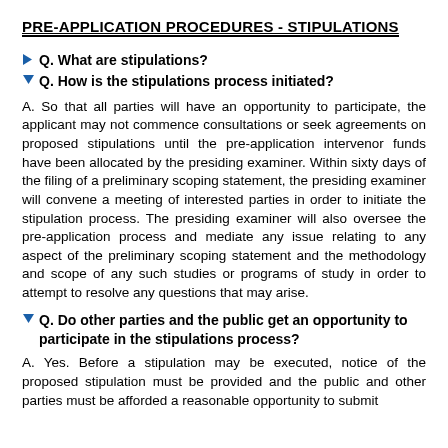PRE-APPLICATION PROCEDURES - STIPULATIONS
Q. What are stipulations?
Q. How is the stipulations process initiated?
A. So that all parties will have an opportunity to participate, the applicant may not commence consultations or seek agreements on proposed stipulations until the pre-application intervenor funds have been allocated by the presiding examiner. Within sixty days of the filing of a preliminary scoping statement, the presiding examiner will convene a meeting of interested parties in order to initiate the stipulation process. The presiding examiner will also oversee the pre-application process and mediate any issue relating to any aspect of the preliminary scoping statement and the methodology and scope of any such studies or programs of study in order to attempt to resolve any questions that may arise.
Q. Do other parties and the public get an opportunity to participate in the stipulations process?
A. Yes. Before a stipulation may be executed, notice of the proposed stipulation must be provided and the public and other parties must be afforded a reasonable opportunity to submit...